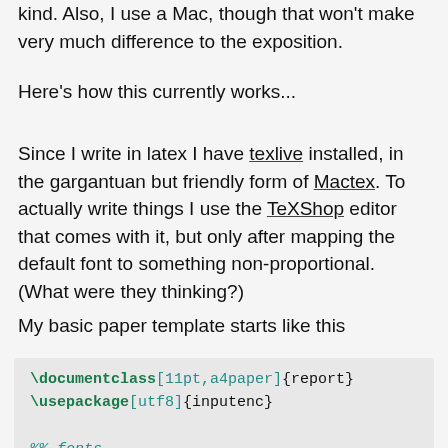kind. Also, I use a Mac, though that won't make very much difference to the exposition.
Here's how this currently works...
Since I write in latex I have texlive installed, in the gargantuan but friendly form of Mactex. To actually write things I use the TeXShop editor that comes with it, but only after mapping the default font to something non-proportional. (What were they thinking?)
My basic paper template starts like this
\documentclass[11pt,a4paper]{report}
\usepackage[utf8]{inputenc}

%% fonts
\usepackage[charter]{mathdesign}
\usepackage[scaled=.95]{inconsolata}